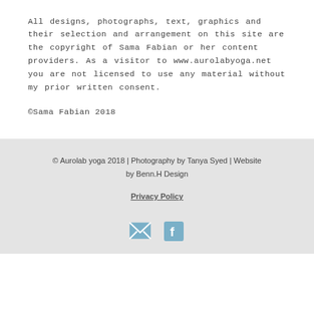All designs, photographs, text, graphics and their selection and arrangement on this site are the copyright of Sama Fabian or her content providers. As a visitor to www.aurolabyoga.net you are not licensed to use any material without my prior written consent.
©Sama Fabian 2018
© Aurolab yoga 2018 | Photography by Tanya Syed | Website by Benn.H Design
Privacy Policy
[Figure (illustration): Email icon (envelope) and Facebook icon side by side]